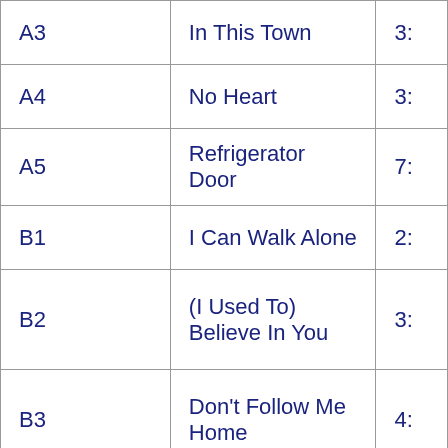| A3 | In This Town | 3: |
| A4 | No Heart | 3: |
| A5 | Refrigerator Door | 7: |
| B1 | I Can Walk Alone | 2: |
| B2 | (I Used To) Believe In You | 3: |
| B3 | Don't Follow Me Home | 4: |
| B4 | Book On Looks | 2: |